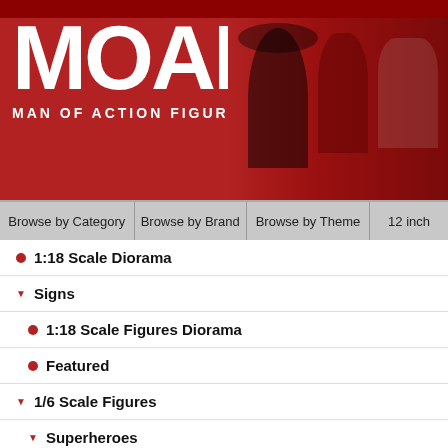[Figure (logo): MOAF Man of Action Figures logo on red background with character images (Darth Vader, Predator, stormtrooper, etc.)]
Browse by Category | Browse by Brand | Browse by Theme | 12 inch
1:18 Scale Diorama
Signs
1:18 Scale Figures Diorama
Featured
1/6 Scale Figures
Superheroes
Apparel
Comic Book Characters (non SuperHero)
Comic Books Magazines & Books
We're open: Monday Closed | Tu...
A1H Skyraider AA1T by Toys &
[Figure (photo): Model airplane on wooden display base - A1H Skyraider]
"The Douglas A-... powered engine, ... 1950s. The A-1 h... Firefly, Zorro, Th... version), Guppy... Dumptruck (A-1B...